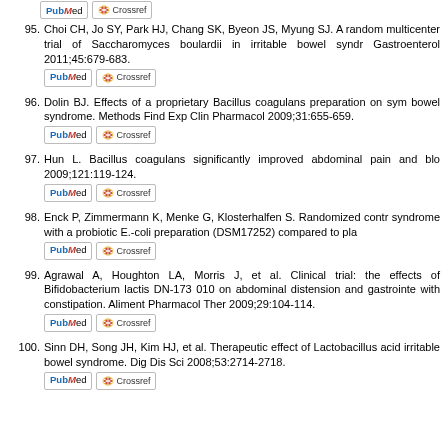95. Choi CH, Jo SY, Park HJ, Chang SK, Byeon JS, Myung SJ. A randomized multicenter trial of Saccharomyces boulardii in irritable bowel syndrome. Gastroenterol 2011;45:679-683.
96. Dolin BJ. Effects of a proprietary Bacillus coagulans preparation on symptoms of irritable bowel syndrome. Methods Find Exp Clin Pharmacol 2009;31:655-659.
97. Hun L. Bacillus coagulans significantly improved abdominal pain and bloating. 2009;121:119-124.
98. Enck P, Zimmermann K, Menke G, Klosterhalfen S. Randomized controlled trial of irritable bowel syndrome with a probiotic E.-coli preparation (DSM17252) compared to placebo.
99. Agrawal A, Houghton LA, Morris J, et al. Clinical trial: the effects of Bifidobacterium lactis DN-173 010 on abdominal distension and gastrointestinal transit in irritable bowel syndrome with constipation. Aliment Pharmacol Ther 2009;29:104-114.
100. Sinn DH, Song JH, Kim HJ, et al. Therapeutic effect of Lactobacillus acidophilus-SDC 2012, 2013 in patients with irritable bowel syndrome. Dig Dis Sci 2008;53:2714-2718.